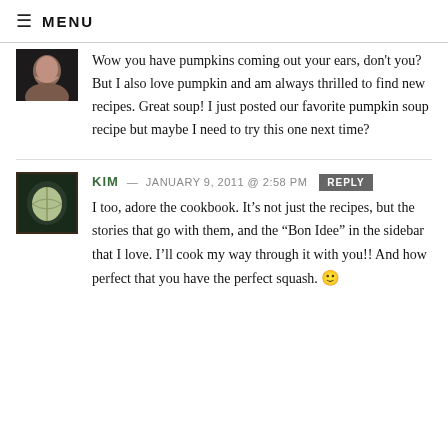≡ MENU
Wow you have pumpkins coming out your ears, don't you? But I also love pumpkin and am always thrilled to find new recipes. Great soup! I just posted our favorite pumpkin soup recipe but maybe I need to try this one next time?
KIM — JANUARY 9, 2011 @ 2:58 PM REPLY
I too, adore the cookbook. It's not just the recipes, but the stories that go with them, and the "Bon Idee" in the sidebar that I love. I'll cook my way through it with you!! And how perfect that you have the perfect squash. 🙂